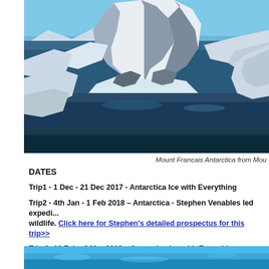[Figure (photo): Aerial photograph of Mount Francais Antarctica showing snow-covered mountain peaks surrounded by dark blue water and ice]
Mount Francais Antarctica from Mou
DATES
Trip1 - 1 Dec - 21 Dec 2017 - Antarctica Ice with Everything
Trip2 - 4th Jan - 1 Feb 2018 – Antarctica - Stephen Venables led expedi... wildlife. Click here for Stephen's detailed prospectus for this trip>>
Trip 3 -10 Feb - 3 Mar 2018 – Antarctica Ice with Everything.
[Figure (photo): Partial bottom photo showing blue Antarctic water scene]